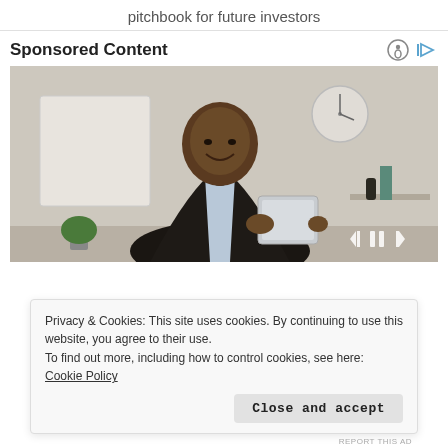pitchbook for future investors
Sponsored Content
[Figure (photo): A smiling Black businessman in a dark suit holding a tablet in an office setting, with a whiteboard and a wall clock visible in the background. Media playback controls are visible at the bottom right of the image.]
Privacy & Cookies: This site uses cookies. By continuing to use this website, you agree to their use.
To find out more, including how to control cookies, see here: Cookie Policy
Close and accept